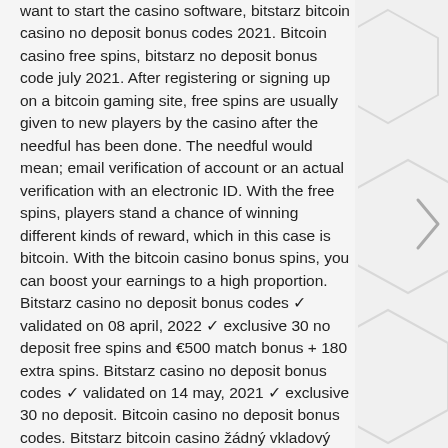want to start the casino software, bitstarz bitcoin casino no deposit bonus codes 2021. Bitcoin casino free spins, bitstarz no deposit bonus code july 2021. After registering or signing up on a bitcoin gaming site, free spins are usually given to new players by the casino after the needful has been done. The needful would mean; email verification of account or an actual verification with an electronic ID. With the free spins, players stand a chance of winning different kinds of reward, which in this case is bitcoin. With the bitcoin casino bonus spins, you can boost your earnings to a high proportion.
Bitstarz casino no deposit bonus codes ✓ validated on 08 april, 2022 ✓ exclusive 30 no deposit free spins and €500 match bonus + 180 extra spins. Bitstarz casino no deposit bonus codes ✓ validated on 14 may, 2021 ✓ exclusive 30 no deposit. Bitcoin casino no deposit bonus codes. Bitstarz bitcoin casino žádný vkladový bonus codes 2021. биткара